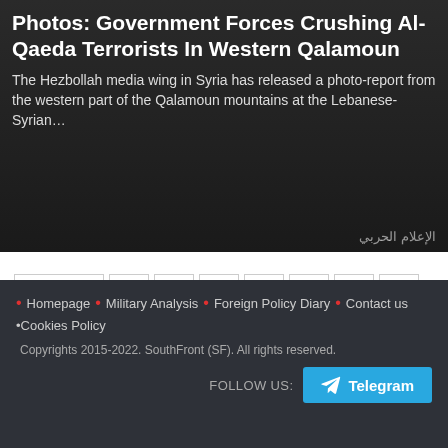[Figure (photo): Dark background news article hero image showing headline and description about government forces in Western Qalamoun]
Photos: Government Forces Crushing Al-Qaeda Terrorists In Western Qalamoun
The Hezbollah media wing in Syria has released a photo-report from the western part of the Qalamoun mountains at the Lebanese-Syrian…
« Previous
1
...
5
6
7
8
9
10
11
12
13
14
15
...
35
Next »
Homepage · Military Analysis · Foreign Policy Diary · Contact us · Cookies Policy — Copyrights 2015-2022. SouthFront (SF). All rights reserved. FOLLOW US: Telegram